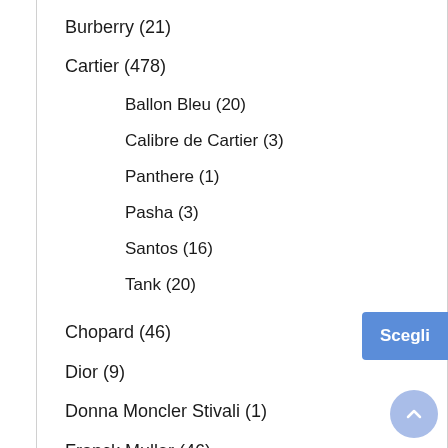Burberry (21)
Cartier (478)
Ballon Bleu (20)
Calibre de Cartier (3)
Panthere (1)
Pasha (3)
Santos (16)
Tank (20)
Chopard (46)
Dior (9)
Donna Moncler Stivali (1)
Franck Muller (46)